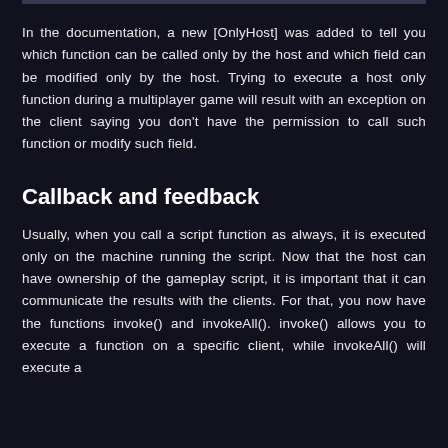In the documentation, a new [OnlyHost] was added to tell you which function can be called only by the host and which field can be modified only by the host. Trying to execute a host only function during a multiplayer game will result with an exception on the client saying you don't have the permission to call such function or modify such field.
Callback and feedback
Usually, when you call a script function as always, it is executed only on the machine running the script. Now that the host can have ownership of the gameplay script, it is important that it can communicate the results with the clients. For that, you now have the functions invoke() and invokeAll(). invoke() allows you to execute a function on a specific client, while invokeAll() will execute a